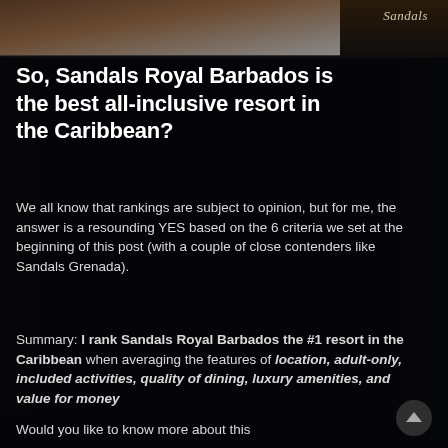[Figure (photo): Partial photo showing a beach/resort scene at top, with a Sandals logo watermark in the upper right]
So, Sandals Royal Barbados is the best all-inclusive resort in the Caribbean?
We all know that rankings are subject to opinion, but for me, the answer is a resounding YES based on the 6 criteria we set at the beginning of this post (with a couple of close contenders like Sandals Grenada).
Summary: I rank Sandals Royal Barbados the #1 resort in the Caribbean when averaging the features of location, adult-only, included activities, quality of dining, luxury amenities, and value for money
Would you like to know more about this